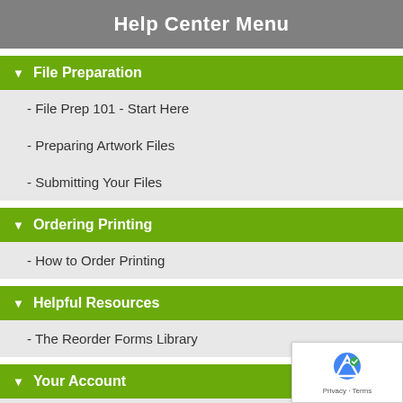Help Center Menu
File Preparation
- File Prep 101 - Start Here
- Preparing Artwork Files
- Submitting Your Files
Ordering Printing
- How to Order Printing
Helpful Resources
- The Reorder Forms Library
Your Account
- Basic Account Info